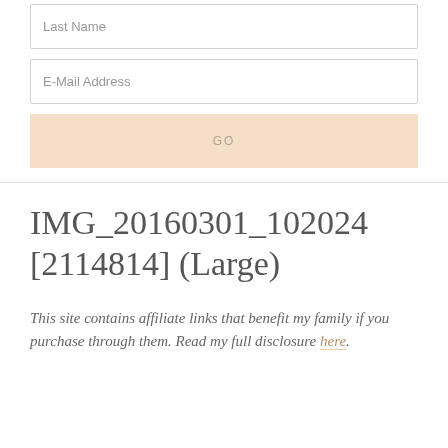Last Name
E-Mail Address
GO
IMG_20160301_102024 [2114814] (Large)
This site contains affiliate links that benefit my family if you purchase through them. Read my full disclosure here.